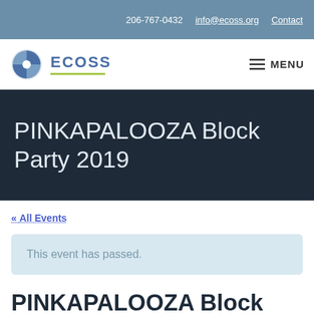206-767-0432  info@ecoss.org  Contact
[Figure (logo): ECOSS logo with circular segmented icon and green underline, plus hamburger MENU button]
PINKAPALOOZA Block Party 2019
« All Events
This event has passed.
PINKAPALOOZA Block